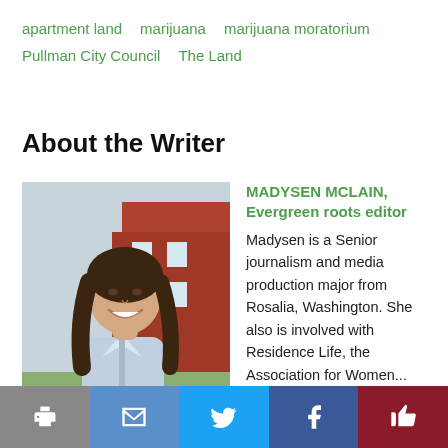apartment land
marijuana
marijuana moratorium
Pullman City Council
The Land
About the Writer
[Figure (photo): Photo of Madysen McLain, a young woman with long brown hair, smiling, wearing a light blue denim jacket, standing outdoors in front of a brick building.]
MADYSEN MCLAIN, Evergreen roots editor
Madysen is a Senior journalism and media production major from Rosalia, Washington. She also is involved with Residence Life, the Association for Women...